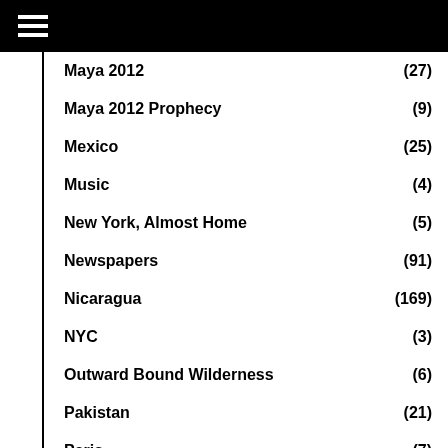≡
Maya 2012 (27)
Maya 2012 Prophecy (9)
Mexico (25)
Music (4)
New York, Almost Home (5)
Newspapers (91)
Nicaragua (169)
NYC (3)
Outward Bound Wilderness (6)
Pakistan (21)
Paris (7)